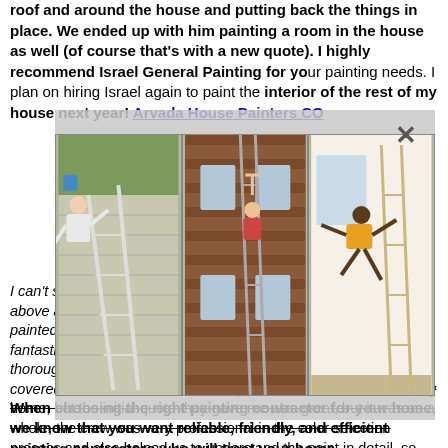roof and around the house and putting back the things in place. We ended up with him painting a room in the house as well (of course that's with a new quote). I highly recommend Israel General Painting for your painting needs. I plan on hiring Israel again to paint the interior of the rest of my house next year! Arvada House Painters CO
[Figure (photo): Modal overlay with three photos of people doing dangerous ladder/acrobatic stunts near houses, with an X close button]
I can't say enough great things about Saints of Paint. They went above and beyond my expectations in every possible way. They painted the interior of my home and the work they did was fantastic. The price was very reasonable and they were very thorough. Because of that, every part of the house was properly covered and considered. The entire process was very smooth. The crew painted the entire interior of my home, but the initial quote they gave me was great, but it was as a whole, the crew was very professional in the color selection process and also helped us to understand the paint in detail, so we could not miss anything. Never missed a single thing. Don't miss all that the home has to offer by failing to choose the best exterior paint colors. House Painting Arvada CO
When choosing the right painting contractor for your home, we know that you want reliable, friendly, and efficient painting contractors who will treat your home